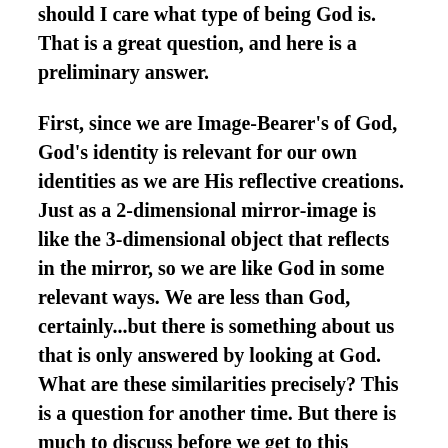should I care what type of being God is. That is a great question, and here is a preliminary answer.
First, since we are Image-Bearer's of God, God's identity is relevant for our own identities as we are His reflective creations. Just as a 2-dimensional mirror-image is like the 3-dimensional object that reflects in the mirror, so we are like God in some relevant ways. We are less than God, certainly...but there is something about us that is only answered by looking at God. What are these similarities precisely? This is a question for another time. But there is much to discuss before we get to this question. For now, this is